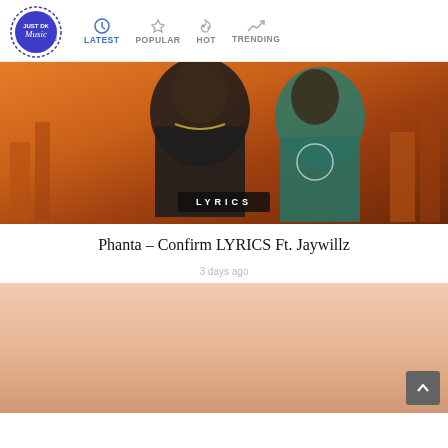Just DK Music — LATEST | POPULAR | HOT | TRENDING
[Figure (photo): Two men standing side by side against an orange/sunset urban background. Left man wears a patterned shirt and chain necklace, right man wears a teal hoodie. A 'LYRICS' badge overlay is at the bottom center.]
Phanta – Confirm LYRICS Ft. Jaywillz
3 days ago
[Figure (photo): A person visible from shoulders up against a peach/blush gradient background, partially cut off at the bottom of the page.]